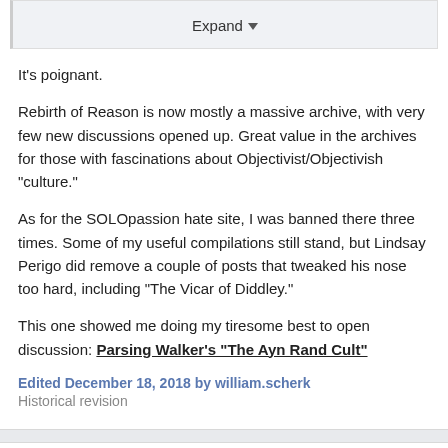Expand
It's poignant.
Rebirth of Reason is now mostly a massive archive, with very few new discussions opened up. Great value in the archives for those with fascinations about Objectivist/Objectivish "culture."
As for the SOLOpassion hate site, I was banned there three times. Some of my useful compilations still stand, but Lindsay Perigo did remove a couple of posts that tweaked his nose too hard, including "The Vicar of Diddley."
This one showed me doing my tiresome best to open discussion: Parsing Walker's "The Ayn Rand Cult"
Edited December 18, 2018 by william.scherk
Historical revision
Michael Stuart Kelly